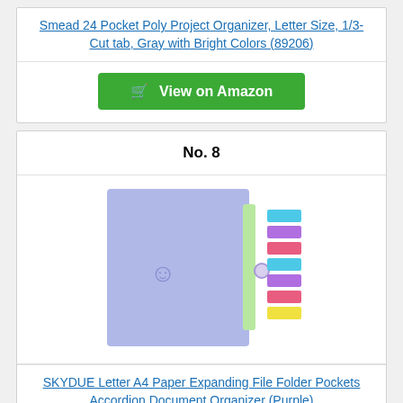Smead 24 Pocket Poly Project Organizer, Letter Size, 1/3-Cut tab, Gray with Bright Colors (89206)
View on Amazon
No. 8
[Figure (photo): SKYDUE Letter A4 Paper Expanding File Folder Pockets Accordion Document Organizer in purple color, shown with colorful sticky note tabs on the right side.]
SKYDUE Letter A4 Paper Expanding File Folder Pockets Accordion Document Organizer (Purple)
View on Amazon